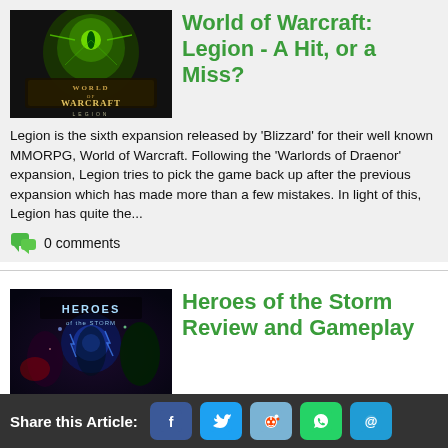World of Warcraft: Legion - A Hit, or a Miss?
[Figure (photo): World of Warcraft Legion expansion logo/cover art with green glowing demon hunter symbol]
Legion is the sixth expansion released by 'Blizzard' for their well known MMORPG, World of Warcraft. Following the 'Warlords of Draenor' expansion, Legion tries to pick the game back up after the previous expansion which has made more than a few mistakes. In light of this, Legion has quite the...
0 comments
Heroes of the Storm Review and Gameplay
[Figure (photo): Heroes of the Storm game artwork showing various Blizzard characters]
Blizzard's signature hero brawler cometh Warcraft. StarCraft. Diablo. As gamers, Blizzard Entertainment's disparate fantasy and sci-fi universes have all become part of our lives. We've bled with their heroes, conquered worlds with their villains. We've shared in the joys and heartaches of...
0 comments
Share this Article: